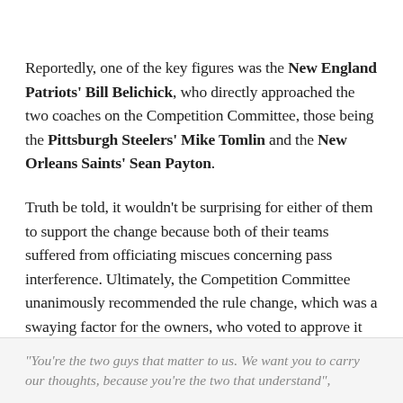Reportedly, one of the key figures was the New England Patriots' Bill Belichick, who directly approached the two coaches on the Competition Committee, those being the Pittsburgh Steelers' Mike Tomlin and the New Orleans Saints' Sean Payton.
Truth be told, it wouldn't be surprising for either of them to support the change because both of their teams suffered from officiating miscues concerning pass interference. Ultimately, the Competition Committee unanimously recommended the rule change, which was a swaying factor for the owners, who voted to approve it 31-1.
“You’re the two guys that matter to us. We want you to carry our thoughts, because you’re the two that understand”,